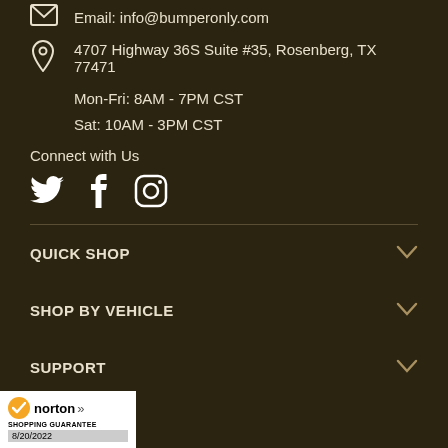Email: info@bumperonly.com
4707 Highway 36S Suite #35, Rosenberg, TX 77471
Mon-Fri: 8AM - 7PM CST
Sat: 10AM - 3PM CST
Connect with Us
[Figure (illustration): Twitter, Facebook, Instagram social media icons in white]
QUICK SHOP
SHOP BY VEHICLE
SUPPORT
[Figure (logo): Norton Shopping Guarantee badge with date 8/20/2022]